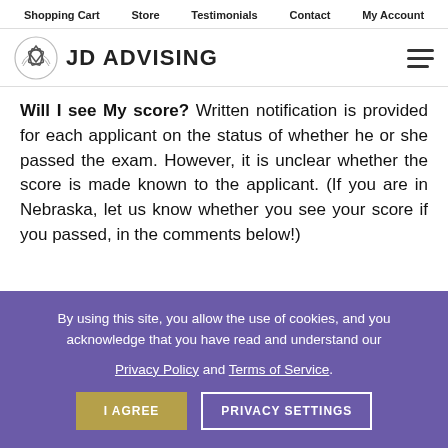Shopping Cart  Store  Testimonials  Contact  My Account
[Figure (logo): JD Advising logo with graduation cap icon and text 'JD ADVISING']
Will I see My score? Written notification is provided for each applicant on the status of whether he or she passed the exam. However, it is unclear whether the score is made known to the applicant. (If you are in Nebraska, let us know whether you see your score if you passed, in the comments below!)
By using this site, you allow the use of cookies, and you acknowledge that you have read and understand our Privacy Policy and Terms of Service.
I AGREE  PRIVACY SETTINGS